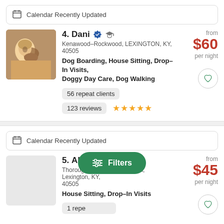Calendar Recently Updated
4. Dani — Kenawood–Rockwood, LEXINGTON, KY, 40505 — Dog Boarding, House Sitting, Drop–In Visits, Doggy Day Care, Dog Walking — 56 repeat clients — 123 reviews — from $60 per night
Calendar Recently Updated
5. Alex — Thoroughbred Acres–Kingston, Lexington, KY, 40505 — House Sitting, Drop–In Visits — 1 repeat client — from $45 per night
[Figure (screenshot): Green Filters button with sliders icon, overlaid at bottom center of page]